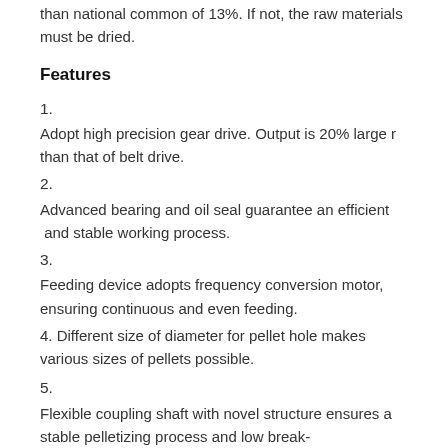than national common of 13%. If not, the raw materials must be dried.
Features
1.
Adopt high precision gear drive. Output is 20% larger than that of belt drive.
2.
Advanced bearing and oil seal guarantee an efficient and stable working process.
3.
Feeding device adopts frequency conversion motor, ensuring continuous and even feeding.
4. Different size of diameter for pellet hole makes various sizes of pellets possible.
5.
Flexible coupling shaft with novel structure ensures a stable pelletizing process and low break-